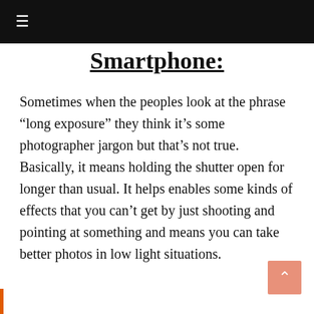≡
Smartphone:
Sometimes when the peoples look at the phrase “long exposure” they think it’s some photographer jargon but that’s not true. Basically, it means holding the shutter open for longer than usual. It helps enables some kinds of effects that you can’t get by just shooting and pointing at something and means you can take better photos in low light situations.